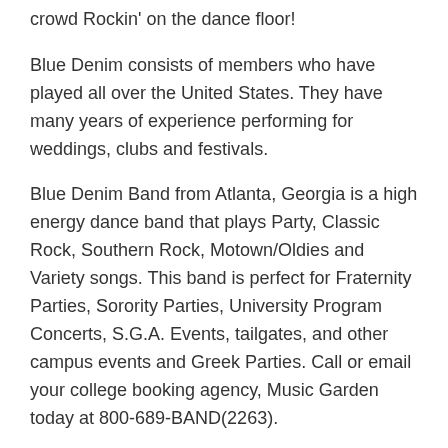crowd Rockin' on the dance floor!
Blue Denim consists of members who have played all over the United States. They have many years of experience performing for weddings, clubs and festivals.
Blue Denim Band from Atlanta, Georgia is a high energy dance band that plays Party, Classic Rock, Southern Rock, Motown/Oldies and Variety songs. This band is perfect for Fraternity Parties, Sorority Parties, University Program Concerts, S.G.A. Events, tailgates, and other campus events and Greek Parties. Call or email your college booking agency, Music Garden today at 800-689-BAND(2263).
SONGLIST